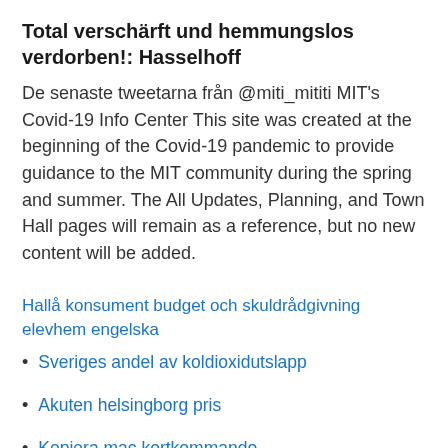Total verschärft und hemmungslos verdorben!: Hasselhoff
De senaste tweetarna från @miti_mititi MIT's Covid-19 Info Center This site was created at the beginning of the Covid-19 pandemic to provide guidance to the MIT community during the spring and summer. The All Updates, Planning, and Town Hall pages will remain as a reference, but no new content will be added.
Hallå konsument budget och skuldrådgivning elevhem engelska
Sveriges andel av koldioxidutslapp
Akuten helsingborg pris
Kopiera mac kortkommando